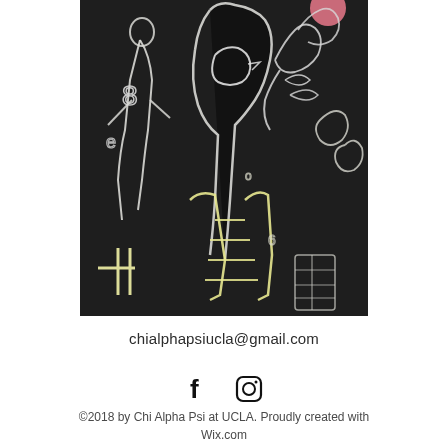[Figure (photo): Close-up photograph of chalk art drawn on a dark chalkboard. The drawing features abstract figures, numbers (8, 4), letters, and floral/organic shapes rendered in white and yellow chalk, with a pink circular element in the upper right corner.]
chialphapsiucla@gmail.com
[Figure (other): Social media icons: Facebook (f) and Instagram (circle with camera) icons in black]
©2018 by Chi Alpha Psi at UCLA. Proudly created with Wix.com